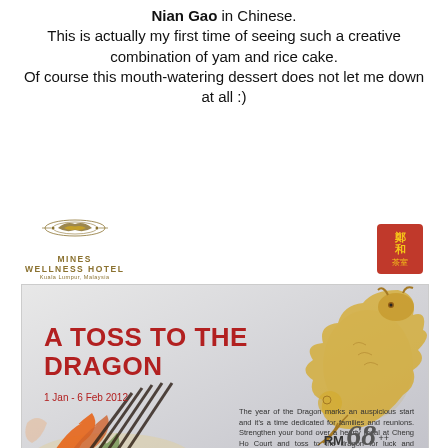Nian Gao in Chinese. This is actually my first time of seeing such a creative combination of yam and rice cake. Of course this mouth-watering dessert does not let me down at all :)
[Figure (infographic): Advertisement for Mines Wellness Hotel Cheng Ho Court - A Toss to the Dragon promotion, 1 Jan - 6 Feb 2012, RM68++ onwards for Yee Sang Selections, with dragon statue image and food photo]
A TOSS TO THE DRAGON - 1 Jan - 6 Feb 2012 - RM 68++ onwards (for Yee Sang Selections)